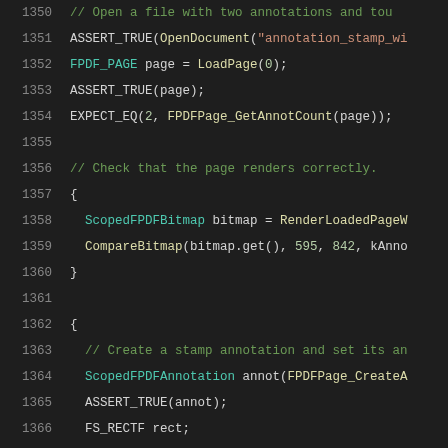1350  // Open a file with two annotations and tou...
1351  ASSERT_TRUE(OpenDocument("annotation_stamp_wi...
1352  FPDF_PAGE page = LoadPage(0);
1353  ASSERT_TRUE(page);
1354  EXPECT_EQ(2, FPDFPage_GetAnnotCount(page));
1355
1356  // Check that the page renders correctly.
1357  {
1358    ScopedFPDFBitmap bitmap = RenderLoadedPageW...
1359    CompareBitmap(bitmap.get(), 595, 842, kAnno...
1360  }
1361
1362  {
1363    // Create a stamp annotation and set its an...
1364    ScopedFPDFAnnotation annot(FPDFPage_CreateA...
1365    ASSERT_TRUE(annot);
1366    FS_RECTF rect;
1367    rect.left = 200.f;
1368    rect.bottom = 550.f;
1369    rect.right = 450.f;
1370    rect.top = 650.f;
1371    EXPECT_TRUE(FPDFAnnot_SetRect(annot.get(),...